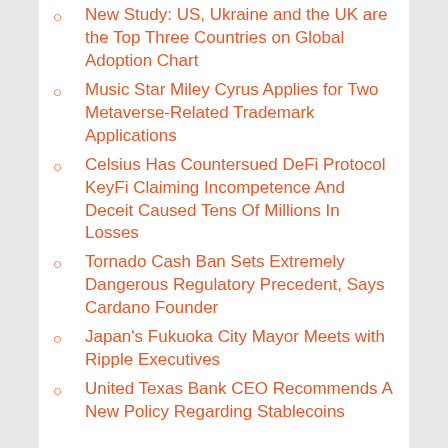New Study: US, Ukraine and the UK are the Top Three Countries on Global Adoption Chart
Music Star Miley Cyrus Applies for Two Metaverse-Related Trademark Applications
Celsius Has Countersued DeFi Protocol KeyFi Claiming Incompetence And Deceit Caused Tens Of Millions In Losses
Tornado Cash Ban Sets Extremely Dangerous Regulatory Precedent, Says Cardano Founder
Japan's Fukuoka City Mayor Meets with Ripple Executives
United Texas Bank CEO Recommends A New Policy Regarding Stablecoins